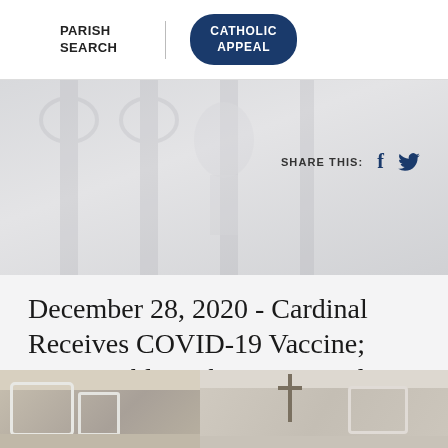PARISH SEARCH
CATHOLIC APPEAL
SHARE THIS:
December 28, 2020 - Cardinal Receives COVID-19 Vaccine; Urges Public to be Vaccinated
News | December 28, 2020
[Figure (photo): Photograph of a hospital room with bed rails visible and a crucifix in the background]